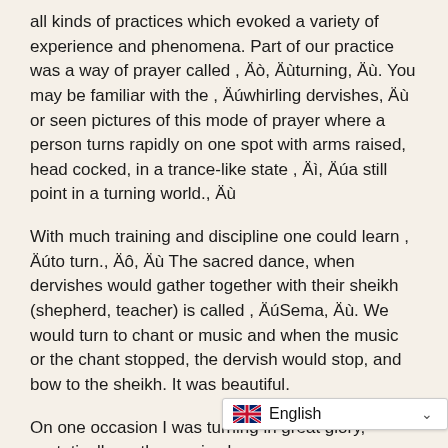all kinds of practices which evoked a variety of experience and phenomena. Part of our practice was a way of prayer called , Äò, Äùturning, Äù. You may be familiar with the , Äúwhirling dervishes, Äù or seen pictures of this mode of prayer where a person turns rapidly on one spot with arms raised, head cocked, in a trance-like state , Äì, Äúa still point in a turning world., Äù
With much training and discipline one could learn , Äúto turn., Äô, Äù The sacred dance, when dervishes would gather together with their sheikh (shepherd, teacher) is called , ÄúSema, Äù. We would turn to chant or music and when the music or the chant stopped, the dervish would stop, and bow to the sheikh. It was beautiful.
On one occasion I was turning in great glory, ecstatically as the music play... chanted, ÄúHu Allah! Hu Alla...